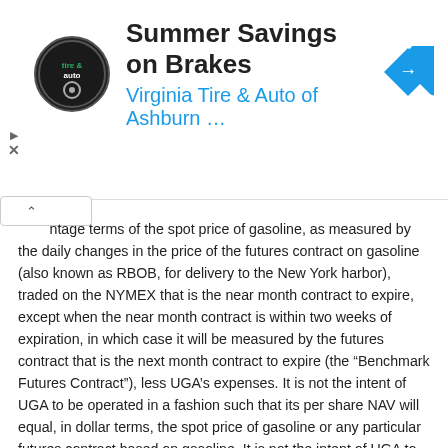[Figure (other): Advertisement banner for Virginia Tire & Auto of Ashburn featuring logo, headline 'Summer Savings on Brakes', subtitle 'Virginia Tire & Auto of Ashburn ...', and a blue navigation arrow icon]
...ntage terms of the spot price of gasoline, as measured by the daily changes in the price of the futures contract on gasoline (also known as RBOB, for delivery to the New York harbor), traded on the NYMEX that is the near month contract to expire, except when the near month contract is within two weeks of expiration, in which case it will be measured by the futures contract that is the next month contract to expire (the “Benchmark Futures Contract”), less UGA’s expenses. It is not the intent of UGA to be operated in a fashion such that its per share NAV will equal, in dollar terms, the spot price of gasoline or any particular futures contract based on gasoline. It is not the intent of UGA to be operated in a fashion such that its per share NAV will reflect the percentage change of the price of any particular futures contract as measured over a time period greater than one day. UGA may invest in interests other than the Benchmark Futures Contract to comply with accountability levels and position limits. For a detailed discussion of accountability levels and position limits, see “Item 1. Business – What are Futures Contracts?” below in this annual report on Form 10-K.